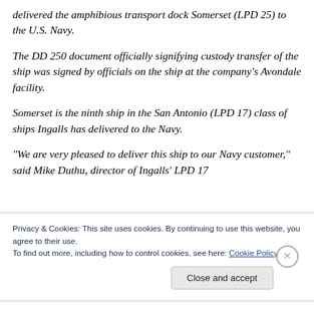delivered the amphibious transport dock Somerset (LPD 25) to the U.S. Navy.
The DD 250 document officially signifying custody transfer of the ship was signed by officials on the ship at the company’s Avondale facility.
Somerset is the ninth ship in the San Antonio (LPD 17) class of ships Ingalls has delivered to the Navy.
“We are very pleased to deliver this ship to our Navy customer,” said Mike Duthu, director of Ingalls’ LPD 17
Privacy & Cookies: This site uses cookies. By continuing to use this website, you agree to their use.
To find out more, including how to control cookies, see here: Cookie Policy